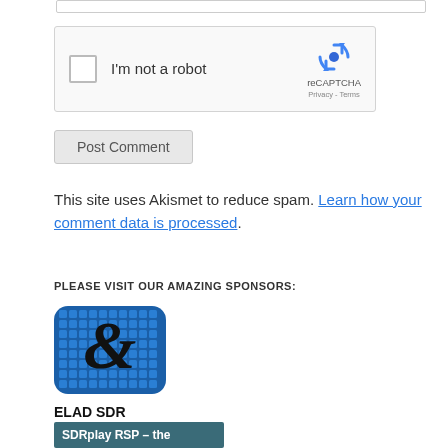[Figure (screenshot): reCAPTCHA widget with checkbox 'I'm not a robot' and reCAPTCHA logo with Privacy and Terms links]
Post Comment
This site uses Akismet to reduce spam. Learn how your comment data is processed.
PLEASE VISIT OUR AMAZING SPONSORS:
[Figure (logo): ELAD SDR logo - blue grid pattern with stylized letter E]
ELAD SDR
[Figure (screenshot): SDRplay RSP – the banner in teal/dark cyan color]